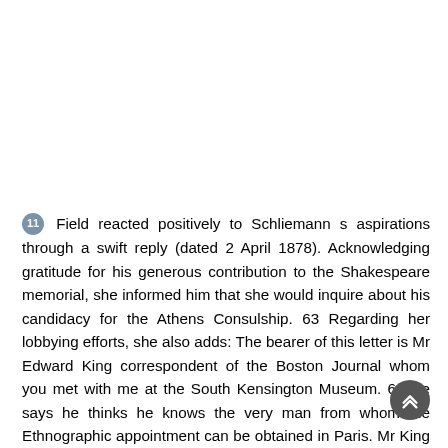11 Field reacted positively to Schliemann s aspirations through a swift reply (dated 2 April 1878). Acknowledging gratitude for his generous contribution to the Shakespeare memorial, she informed him that she would inquire about his candidacy for the Athens Consulship. 63 Regarding her lobbying efforts, she also adds: The bearer of this letter is Mr Edward King correspondent of the Boston Journal whom you met with me at the South Kensington Museum. 64 He says he thinks he knows the very man from whom the Ethnographic appointment can be obtained in Paris. Mr King will communicate with you, and should he fail in his efforts (which is not likely), he will let me know. Her next letter to Schliemann, on 25 April 1878, (Figs. 3a b) suggests her efforts to exert her influence on his consular